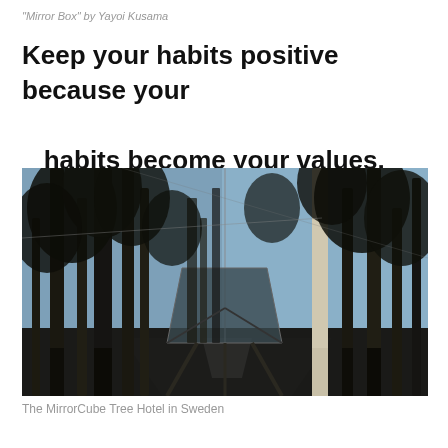"Mirror Box" by Yayoi Kusama
Keep your habits positive because your habits become your values.
[Figure (photo): Looking up through tall dark pine trees against a blue sky, with a mirrored cube structure (the MirrorCube Tree Hotel) visible among the trees reflecting the forest and sky.]
The MirrorCube Tree Hotel in Sweden